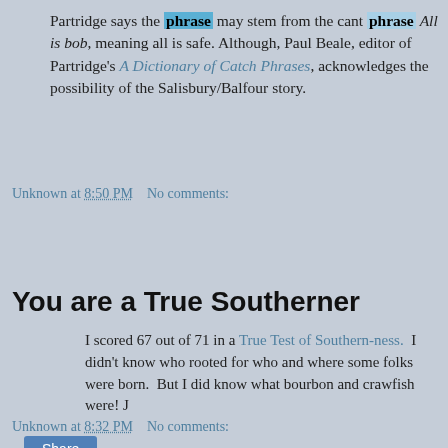Partridge says the phrase may stem from the cant phrase All is bob, meaning all is safe. Although, Paul Beale, editor of Partridge's A Dictionary of Catch Phrases, acknowledges the possibility of the Salisbury/Balfour story.
Unknown at 8:50 PM    No comments:
Share
You are a True Southerner
I scored 67 out of 71 in a True Test of Southern-ness.  I didn't know who rooted for who and where some folks were born.  But I did know what bourbon and crawfish were! J
Unknown at 8:32 PM    No comments: